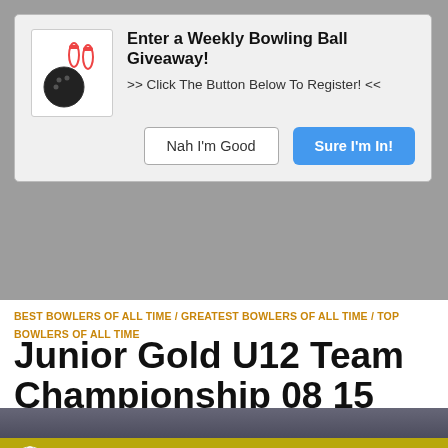[Figure (screenshot): Bowling giveaway modal popup with bowling ball and pins icon, title 'Enter a Weekly Bowling Ball Giveaway!', subtitle '>> Click The Button Below To Register! <<', and two buttons: 'Nah I'm Good' and 'Sure I'm In!']
BEST BOWLERS OF ALL TIME / GREATEST BOWLERS OF ALL TIME / TOP BOWLERS OF ALL TIME
Junior Gold U12 Team Championship 08 15 2017
[Figure (screenshot): Yellow attention bar with globe icon and 'ATTENTION REQU...' text (truncated)]
This website uses Cookies. By continuing to use our site, you consent to the use of cookies.
Accept
Privacy Center
[Figure (photo): Partial photo of people at the bottom of the page]